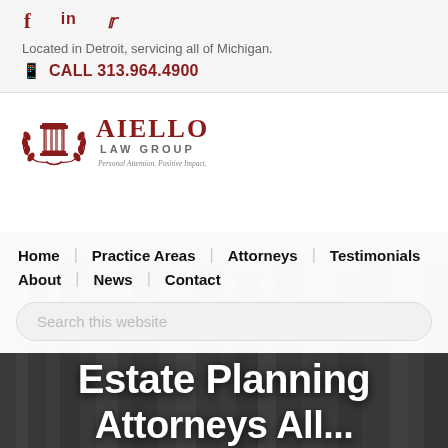f  in  (twitter icon)
Located in Detroit, servicing all of Michigan.
CALL 313.964.4900
[Figure (logo): Aiello Law Group logo — wreath with classical column, text 'AIELLO LAW GROUP', tagline 'Personal Attention. Positive Impact.']
Home  Practice Areas  Attorneys  Testimonials
About  News  Contact
Search this website
[Figure (photo): Aerial view of Detroit city skyline with high-rise buildings, dark/grey toned background photo]
Estate Planning
Attorneys All...